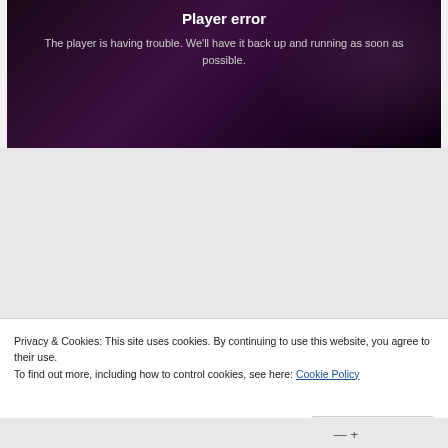[Figure (screenshot): Video player error screen with dark purple/black gradient background showing error message text]
Player error
The player is having trouble. We’ll have it back up and running as soon as possible.
Privacy & Cookies: This site uses cookies. By continuing to use this website, you agree to their use.
To find out more, including how to control cookies, see here: Cookie Policy
Close and accept